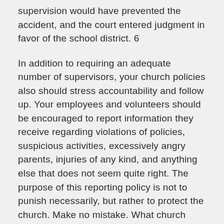supervision would have prevented the accident, and the court entered judgment in favor of the school district. 6
In addition to requiring an adequate number of supervisors, your church policies also should stress accountability and follow up. Your employees and volunteers should be encouraged to report information they receive regarding violations of policies, suspicious activities, excessively angry parents, injuries of any kind, and anything else that does not seem quite right. The purpose of this reporting policy is not to punish necessarily, but rather to protect the church. Make no mistake. What church leaders do not know can still hurt the church, a hard lesson recently learned by church leaders in Oklahoma.